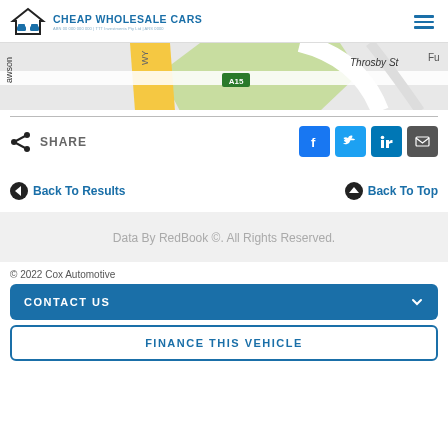[Figure (logo): Cheap Wholesale Cars logo with house/car icon and blue text]
[Figure (map): Street map snippet showing A15 highway, Throsby St, awson street label]
SHARE
Back To Results
Back To Top
Data By RedBook ©. All Rights Reserved.
© 2022 Cox Automotive
CONTACT US
FINANCE THIS VEHICLE